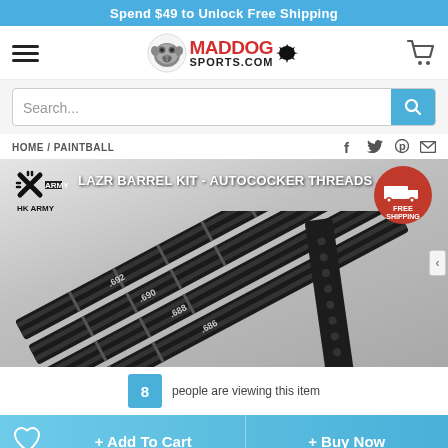Spend $49 to Unlock Free Shipping
[Figure (logo): Maddog Sports.com logo with bulldog mascot and ink splat]
Search...
HOME / PAINTBALL
[Figure (photo): HK Army LAZR Barrel Kit - Autococker Threads product image showing multiple black barrel inserts with measurement markings (.692, .690, .688, .686). Free Shipping badge visible in top right. HK Army logo top left.]
LAZR BARREL KIT - AUTOCOCKER THREADS
8 people are viewing this item
+ Add To Cart
+ Buy Now